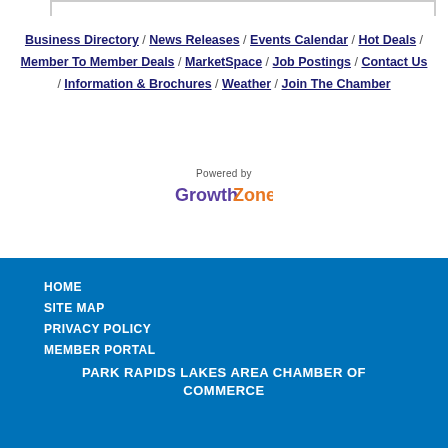Business Directory / News Releases / Events Calendar / Hot Deals / Member To Member Deals / MarketSpace / Job Postings / Contact Us / Information & Brochures / Weather / Join The Chamber
[Figure (logo): Powered by GrowthZone logo — 'Growth' in purple/dark text, 'Zone' in orange]
HOME
SITE MAP
PRIVACY POLICY
MEMBER PORTAL
PARK RAPIDS LAKES AREA CHAMBER OF COMMERCE